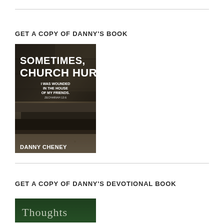GET A COPY OF DANNY'S BOOK
[Figure (photo): Book cover for 'Sometimes, Church Hurts' by Danny Cheney. Dark sepia-toned image of old wooden church pews. Bold white text reads: SOMETIMES, CHURCH HURTS / I WAS WOUNDED IN THE HOUSE OF MY FRIENDS. ZECHARIAH 13:6 / DANNY CHENEY]
GET A COPY OF DANNY'S DEVOTIONAL BOOK
[Figure (photo): Partial view of devotional book cover showing the word 'Thoughts' at the top in light text on a dark green background]